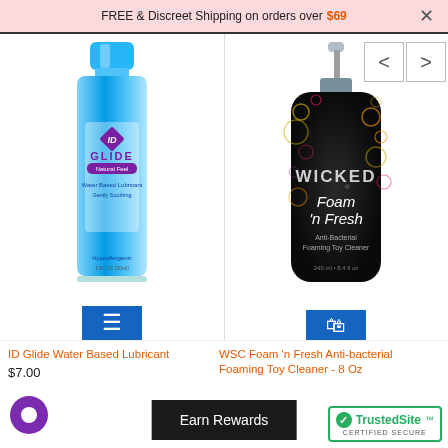FREE & Discreet Shipping on orders over $69
[Figure (photo): ID Glide Water Based Lubricant bottle - blue cylindrical bottle with purple diamond logo]
[Figure (photo): Wicked Foam 'n Fresh Anti-bacterial Foaming Toy Cleaner - dark bottle with pump dispenser and colorful bubbles]
ID Glide Water Based Lubricant
$7.00
WSC Foam 'n Fresh Anti-bacterial Foaming Toy Cleaner - 8 Oz
Earn Rewards
[Figure (logo): TrustedSite Certified Secure badge]